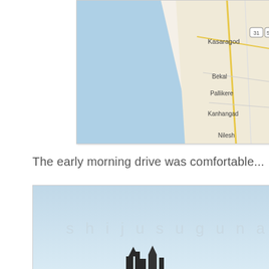[Figure (map): Google Maps screenshot showing coastal area of Kerala, India with locations: Kasaragod, Bekal, Pallikere, Kanhangad, Nilesh. Sea (Arabian Sea) shown in light blue on the left, land with road network on the right. Route markers 31 and 55 visible.]
The early morning drive was comfortable...
[Figure (photo): Photograph showing a light blue sky with a watermark text 'shiju sugunan' in light grey letters. Bottom of image shows a dark silhouette of what appears to be a landscape or structure.]